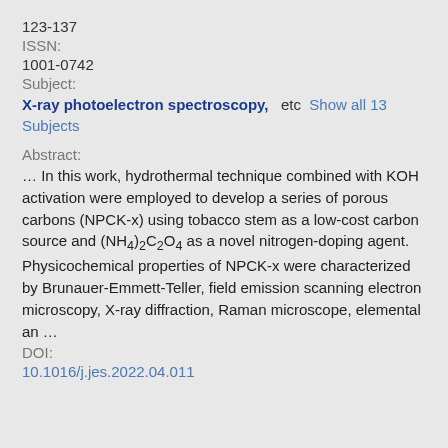123-137
ISSN:
1001-0742
Subject:
X-ray photoelectron spectroscopy,   etc  Show all 13 Subjects
Abstract:
… In this work, hydrothermal technique combined with KOH activation were employed to develop a series of porous carbons (NPCK-x) using tobacco stem as a low-cost carbon source and (NH4)2C2O4 as a novel nitrogen-doping agent. Physicochemical properties of NPCK-x were characterized by Brunauer-Emmett-Teller, field emission scanning electron microscopy, X-ray diffraction, Raman microscope, elemental an …
DOI:
10.1016/j.jes.2022.04.011